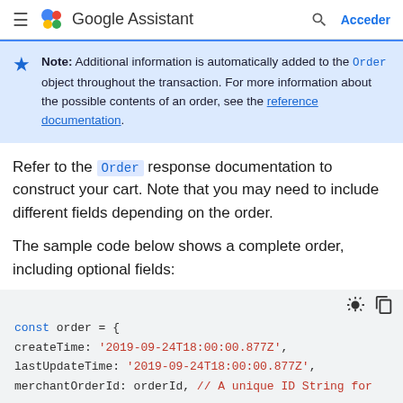Google Assistant — Acceder
Note: Additional information is automatically added to the Order object throughout the transaction. For more information about the possible contents of an order, see the reference documentation.
Refer to the Order response documentation to construct your cart. Note that you may need to include different fields depending on the order.
The sample code below shows a complete order, including optional fields:
[Figure (screenshot): Code block showing JavaScript: const order = { createTime: '2019-09-24T18:00:00.877Z', lastUpdateTime: '2019-09-24T18:00:00.877Z', merchantOrderId: orderId, // A unique ID String for ...]